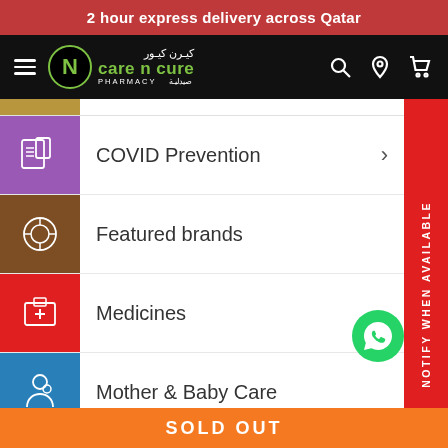2 hour express delivery across Qatar
[Figure (logo): Care n Cure Pharmacy logo with green N icon and Arabic/English text on black navbar with hamburger menu, search, location, and cart icons]
COVID Prevention
Featured brands
Medicines
Mother & Baby Care
Beauty & Personal Care
Vitamins & Supplements
Sexual Care
NOTIFY WHEN AVAILABLE
SOLD OUT